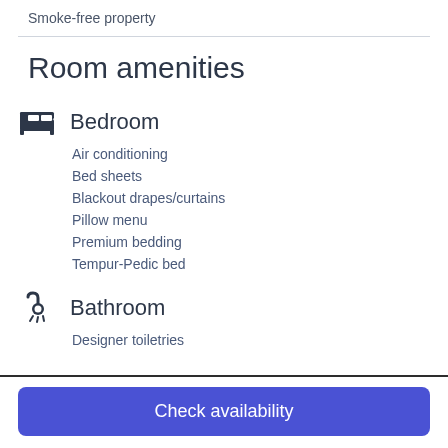Smoke-free property
Room amenities
Bedroom
Air conditioning
Bed sheets
Blackout drapes/curtains
Pillow menu
Premium bedding
Tempur-Pedic bed
Bathroom
Designer toiletries
Check availability